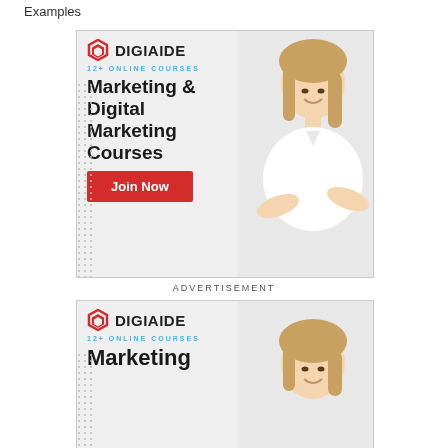Examples
[Figure (illustration): DIGIAIDE advertisement banner showing a woman with crossed arms, logo with hexagon icon, text '12+ ONLINE COURSES', 'Marketing & Digital Marketing Courses', and a red 'Join Now' button]
ADVERTISEMENT
[Figure (illustration): Second DIGIAIDE advertisement banner (partial), showing same woman, logo, '12+ ONLINE COURSES', and 'Marketing' text — partially cut off at bottom of page]